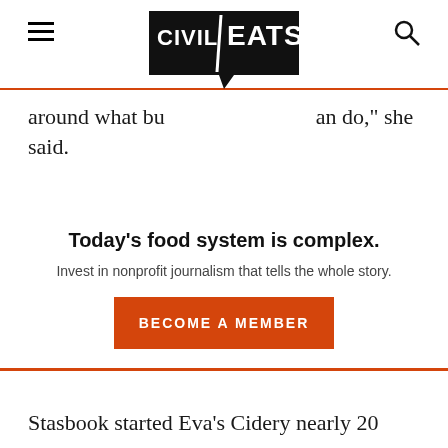Civil Eats
around what businesses can do,” she said.
Today’s food system is complex.
Invest in nonprofit journalism that tells the whole story.
BECOME A MEMBER
Stasbook started Eva’s Cidery nearly 20 years